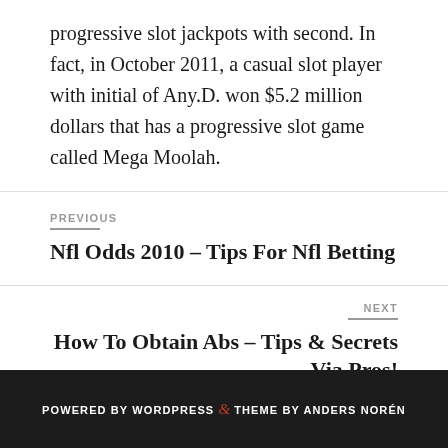progressive slot jackpots with second. In fact, in October 2011, a casual slot player with initial of Any.D. won $5.2 million dollars that has a progressive slot game called Mega Moolah.
PREVIOUS
Nfl Odds 2010 – Tips For Nfl Betting
NEXT
How To Obtain Abs – Tips & Secrets Via Pros!
POWERED BY WORDPRESS & THEME BY ANDERS NORÉN